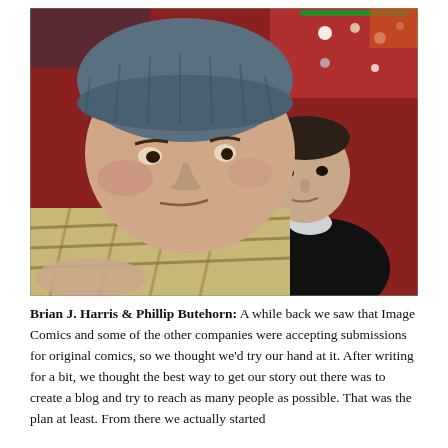[Figure (photo): Two young men sitting together indoors. The man in the foreground wears a grey knit beanie hat and a plaid flannel shirt, looking slightly to the side with a smirk. The man in the background wears a black zip-up jacket over a white shirt, looking toward the foreground man with an intense expression. The background shows red walls and decorative lights.]
Brian J. Harris & Phillip Butehorn: A while back we saw that Image Comics and some of the other companies were accepting submissions for original comics, so we thought we'd try our hand at it. After writing for a bit, we thought the best way to get our story out there was to create a blog and try to reach as many people as possible. That was the plan at least. From there we actually started